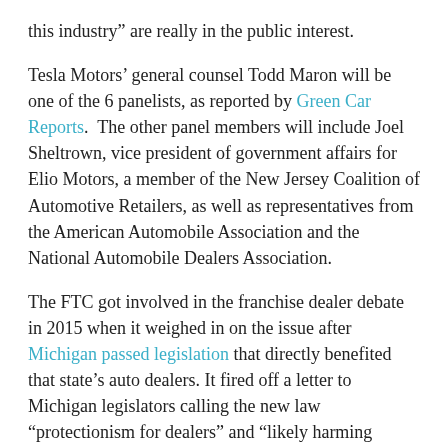this industry” are really in the public interest.
Tesla Motors’ general counsel Todd Maron will be one of the 6 panelists, as reported by Green Car Reports. The other panel members will include Joel Sheltrown, vice president of government affairs for Elio Motors, a member of the New Jersey Coalition of Automotive Retailers, as well as representatives from the American Automobile Association and the National Automobile Dealers Association.
The FTC got involved in the franchise dealer debate in 2015 when it weighed in on the issue after Michigan passed legislation that directly benefited that state’s auto dealers. It fired off a letter to Michigan legislators calling the new law “protectionism for dealers” and “likely harming competitors and consumers.” The panel discussion will take place on Tuesday, January 19 at 2:15 EST. A webcast is expected to be available on the FRC website.